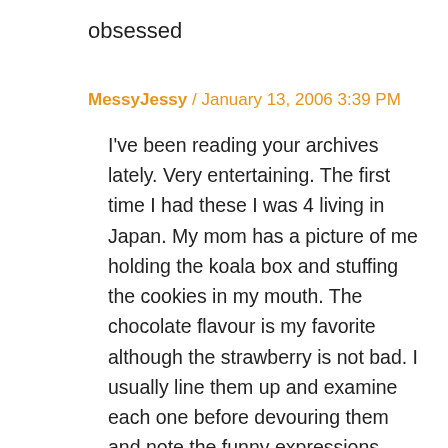obsessed
MessyJessy / January 13, 2006 3:39 PM
I've been reading your archives lately. Very entertaining. The first time I had these I was 4 living in Japan. My mom has a picture of me holding the koala box and stuffing the cookies in my mouth. The chocolate flavour is my favorite although the strawberry is not bad. I usually line them up and examine each one before devouring them and note the funny expressions they put on them. I found some about a month ago at an Asian market, went crazy, and bought all they had on the shelf. I have one box left.